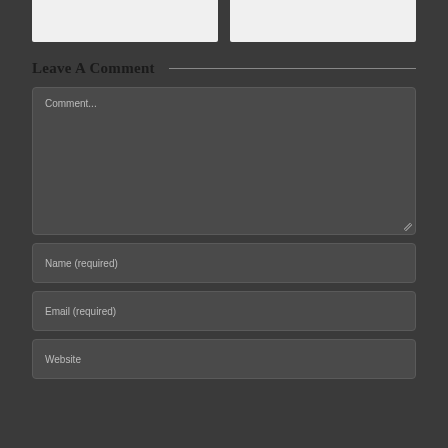[Figure (photo): Two light gray image placeholder boxes at the top of the page]
Leave A Comment
Comment...
Name (required)
Email (required)
Website